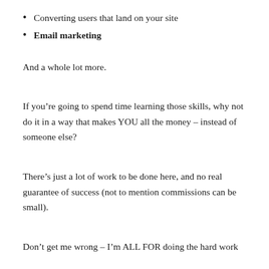Converting users that land on your site
Email marketing
And a whole lot more.
If you’re going to spend time learning those skills, why not do it in a way that makes YOU all the money – instead of someone else?
There’s just a lot of work to be done here, and no real guarantee of success (not to mention commissions can be small).
Don’t get me wrong – I’m ALL FOR doing the hard work